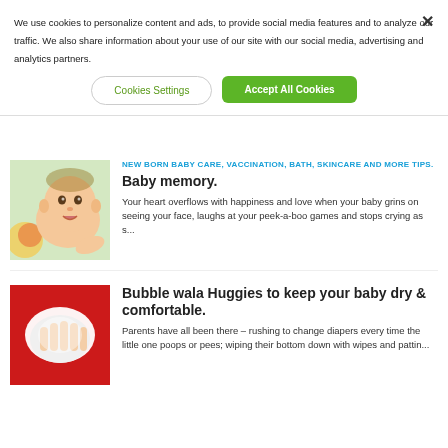We use cookies to personalize content and ads, to provide social media features and to analyze our traffic. We also share information about your use of our site with our social media, advertising and analytics partners.
Cookies Settings
Accept All Cookies
NEW BORN BABY CARE, VACCINATION, BATH, SKINCARE AND MORE TIPS.
Baby memory.
Your heart overflows with happiness and love when your baby grins on seeing your face, laughs at your peek-a-boo games and stops crying as s...
Bubble wala Huggies to keep your baby dry & comfortable.
Parents have all been there – rushing to change diapers every time the little one poops or pees; wiping their bottom down with wipes and pattin...